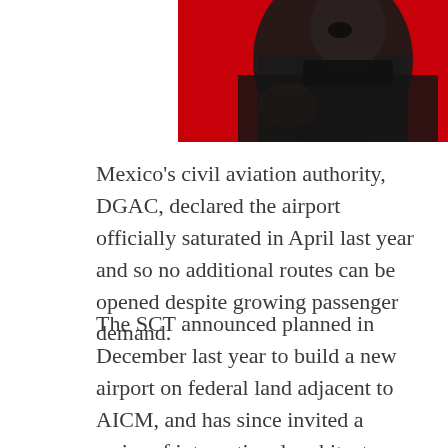[Figure (photo): Partial photo of a person against a red background, cropped at top of page]
Mexico's civil aviation authority, DGAC, declared the airport officially saturated in April last year and so no additional routes can be opened despite growing passenger demand.
The SCT announced planned in December last year to build a new airport on federal land adjacent to AICM, and has since invited a series of international architecture firms, in partnership with local firms, to design the new airport.
Seven firms, including British architects Zaha Hadid, Norman Foster, Richard Rogers and local architect Teodoro González de León have